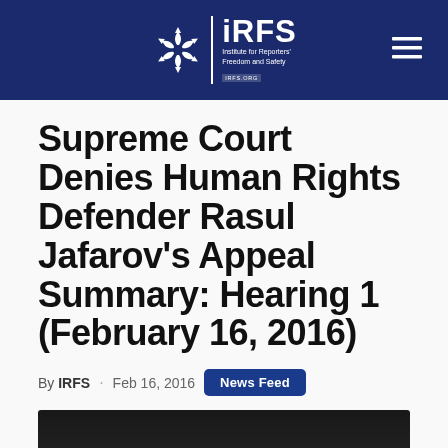[Figure (logo): IRFS (Institute for Reporters' Freedom and Safety) logo with snowflake icon on dark navy blue header bar, with hamburger menu icon on right]
Supreme Court Denies Human Rights Defender Rasul Jafarov's Appeal Summary: Hearing 1 (February 16, 2016)
By IRFS · Feb 16, 2016  News Feed
[Figure (photo): Dark photograph partially visible at bottom of page, appears to be a person]